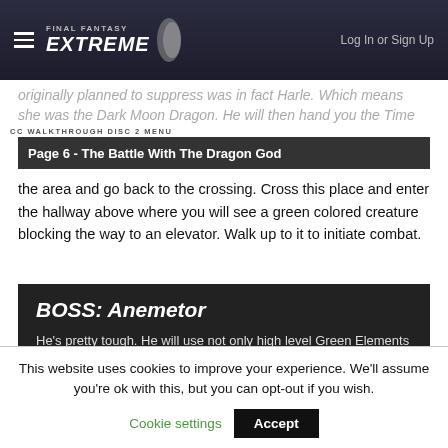FINAL FANTASY EXTREME | Log In or Sign Up
originally planned to suppress was in fact Harle. Which means she was the Dark Moon Dragon. He will then hand you the Time
CC WALKTHROUGH DISC 2 MENU
Page 6 - The Battle With The Dragon God
the area and go back to the crossing. Cross this place and enter the hallway above where you will see a green colored creature blocking the way to an elevator. Walk up to it to initiate combat.
BOSS: Anemetor
He's pretty tough. He will use not only high level Green Elements 4 times in a row, but Heal Plus to heal himself as well as Omera Green. Watch out when he
This website uses cookies to improve your experience. We'll assume you're ok with this, but you can opt-out if you wish.
Cookie settings   Accept